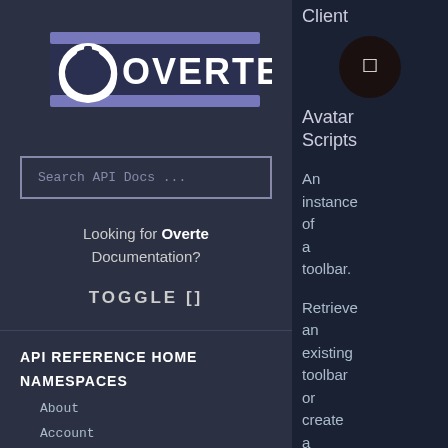[Figure (logo): Overte logo — circular power icon on left, 'OVERTE' text in white on dark blue/purple background with horizontal purple bar]
Search API Docs ...
Looking for Overte Documentation?
TOGGLE []
API REFERENCE HOME
NAMESPACES
About
Account
AccountServices
AddressManager
Client
Avatar Scripts
An instance of a toolbar.
Retrieve an existing toolbar or create a new toolbar using